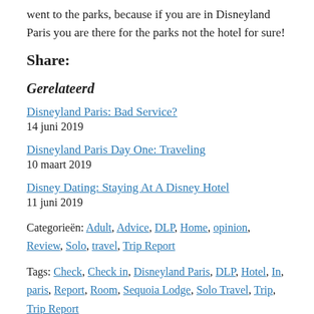went to the parks, because if you are in Disneyland Paris you are there for the parks not the hotel for sure!
Share:
Gerelateerd
Disneyland Paris: Bad Service?
14 juni 2019
Disneyland Paris Day One: Traveling
10 maart 2019
Disney Dating: Staying At A Disney Hotel
11 juni 2019
Categorieën: Adult, Advice, DLP, Home, opinion, Review, Solo, travel, Trip Report
Tags: Check, Check in, Disneyland Paris, DLP, Hotel, In, paris, Report, Room, Sequoia Lodge, Solo Travel, Trip, Trip Report